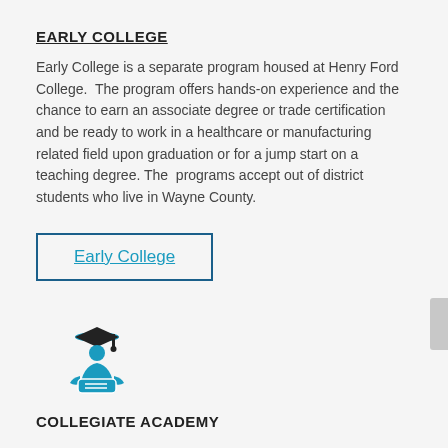EARLY COLLEGE
Early College is a separate program housed at Henry Ford College.  The program offers hands-on experience and the chance to earn an associate degree or trade certification and be ready to work in a healthcare or manufacturing related field upon graduation or for a jump start on a teaching degree. The  programs accept out of district students who live in Wayne County.
[Figure (other): Button link labeled 'Early College' with teal underlined text inside a dark blue rectangular border]
[Figure (illustration): Teal icon of a graduate in cap and gown holding a diploma]
COLLEGIATE ACADEMY